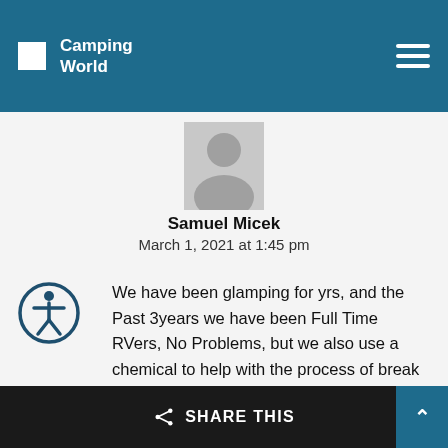Camping World
[Figure (illustration): Generic user avatar silhouette placeholder icon, light gray background]
Samuel Micek
March 1, 2021 at 1:45 pm
We have been glamping for yrs, and the Past 3years we have been Full Time RVers, No Problems, but we also use a chemical to help with the process of break down for All Solids. We have used cottenl and other brands, as long as they say they are Septic Safe.
SHARE THIS